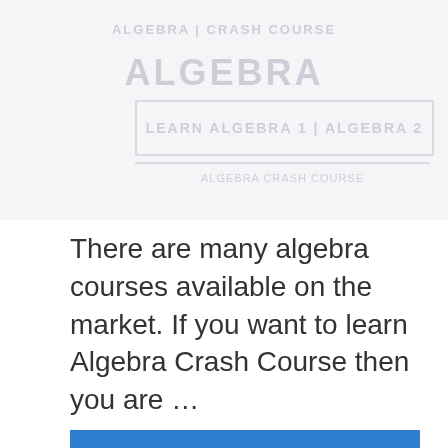[Figure (other): Faded background image area showing watermarked/ghosted text and a bordered box with 'LEARN ALGEBRA 1 ALGEBRA 2' text, appearing as a decorative header image placeholder]
There are many algebra courses available on the market. If you want to learn Algebra Crash Course then you are …
Learn more